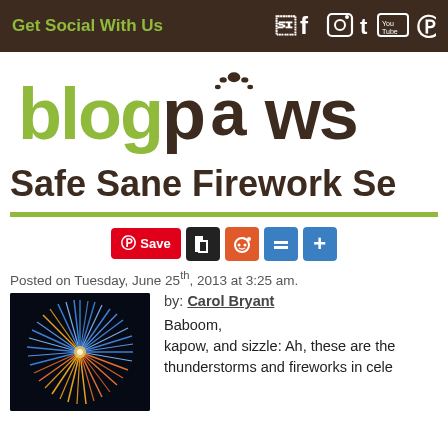Get Social With Us
[Figure (logo): BlogPaws logo with green 'blog' text, brown 'paws' text and paw print icon over the letter 'a']
Safe Sane Firework Se
[Figure (infographic): Social sharing buttons: Pinterest Save, Digg, Reddit, minus, plus]
Posted on Tuesday, June 25th, 2013 at 3:25 am.
by: Carol Bryant
[Figure (photo): Fireworks burst on black background with blue, red, orange, gold colors]
Baboom, kapow, and sizzle: Ah, these are the thunderstorms and fireworks in cele